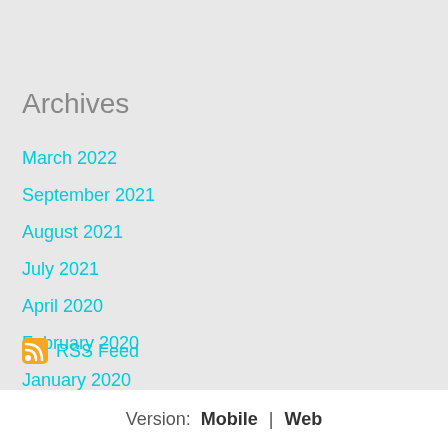Archives
March 2022
September 2021
August 2021
July 2021
April 2020
February 2020
January 2020
December 2019
RSS Feed
Version: Mobile | Web